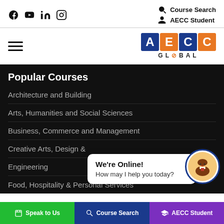Social icons: Facebook, YouTube, LinkedIn, Instagram | Course Search | AECC Student
[Figure (logo): AECC Global logo with colored letter blocks A(blue) E(orange) C(blue) C(orange) and GLOBAL text below]
Popular Courses
Architecture and Building
Arts, Humanities and Social Sciences
Business, Commerce and Management
Creative Arts, Design &
Engineering
Food, Hospitality & Personal Services
[Figure (illustration): Chat popup with We're Online! How may I help you today? and avatar icon]
Speak to Us | Course Search | AECC Student